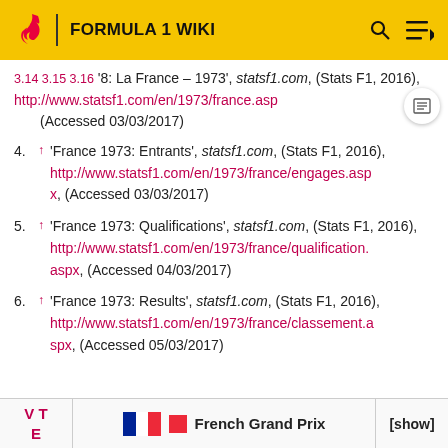FORMULA 1 WIKI
3.14 3.15 3.16 '8: La France – 1973', statsf1.com, (Stats F1, 2016), http://www.statsf1.com/en/1973/france.aspx (Accessed 03/03/2017)
4. ↑ 'France 1973: Entrants', statsf1.com, (Stats F1, 2016), http://www.statsf1.com/en/1973/france/engages.aspx, (Accessed 03/03/2017)
5. ↑ 'France 1973: Qualifications', statsf1.com, (Stats F1, 2016), http://www.statsf1.com/en/1973/france/qualification.aspx, (Accessed 04/03/2017)
6. ↑ 'France 1973: Results', statsf1.com, (Stats F1, 2016), http://www.statsf1.com/en/1973/france/classement.aspx, (Accessed 05/03/2017)
V T E | French Grand Prix | [show]